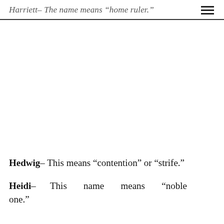Harriett– The name means “home ruler.”
Hedwig– This means “contention” or “strife.”
Heidi– This name means “noble one.”